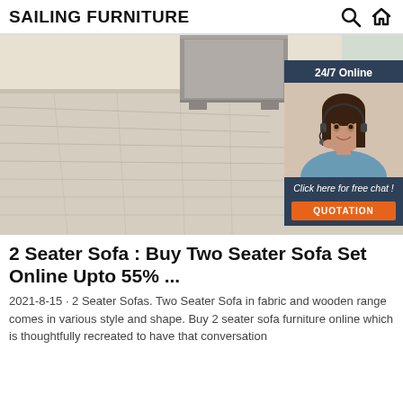SAILING FURNITURE
[Figure (screenshot): Website screenshot showing a room with light wood laminate flooring and a grey shelf unit. Overlaid is a 24/7 Online chat widget with a smiling female customer service agent wearing a headset, a 'Click here for free chat!' caption, and an orange QUOTATION button.]
2 Seater Sofa : Buy Two Seater Sofa Set Online Upto 55% ...
2021-8-15 · 2 Seater Sofas. Two Seater Sofa in fabric and wooden range comes in various style and shape. Buy 2 seater sofa furniture online which is thoughtfully recreated to have that conversation